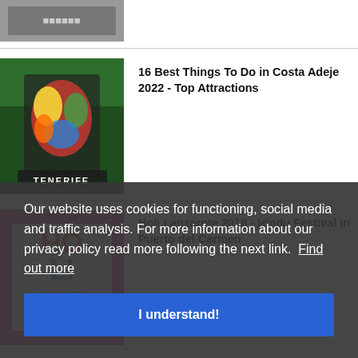[Figure (photo): Partial top image showing text/sign partially visible, cropped at top of page]
[Figure (photo): Colorful Tenerife souvenir textile/tapestry on green background]
16 Best Things To Do in Costa Adeje 2022 - Top Attractions
[Figure (photo): Holi festival poster on pink/magenta background showing HOLI Lanzarote Entrada Gratis]
Holi Lanzarote 2018 - Hindu Festival in Puerto del Carmen
Los Gigantes Summer Carnival 2022 - Tox...
Our website uses cookies for functioning, social media and traffic analysis. For more information about our privacy policy read more following the next link.  Find out more
I understand!
Indian Festival 2022 - Ratha Yatra in Playa de Las Americas, Tenerife